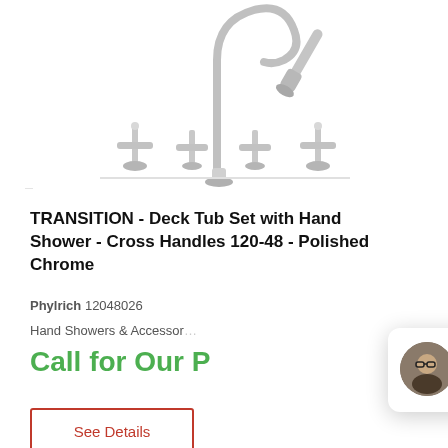[Figure (photo): Chrome deck tub faucet set with hand shower and cross handles, shown from above on white background]
TRANSITION - Deck Tub Set with Hand Shower - Cross Handles 120-48 - Polished Chrome
Phylrich 12048026
Hand Showers & Accessor...
Call for Our P
See Details
[Figure (screenshot): Live chat popup with agent avatar and message: Hey there, have a question? Chat with us!]